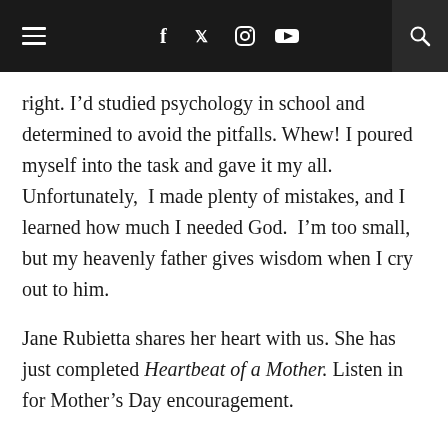Navigation bar with hamburger menu, social icons (f, Twitter, Instagram, YouTube), cart with badge (0), and search
right. I'd studied psychology in school and determined to avoid the pitfalls. Whew! I poured myself into the task and gave it my all. Unfortunately, I made plenty of mistakes, and I learned how much I needed God. I'm too small, but my heavenly father gives wisdom when I cry out to him.
Jane Rubietta shares her heart with us. She has just completed Heartbeat of a Mother. Listen in for Mother's Day encouragement.